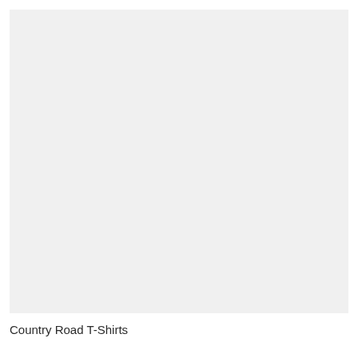[Figure (photo): Large light gray rectangular image area, appears to be a product photo placeholder for Country Road T-Shirts]
Country Road T-Shirts